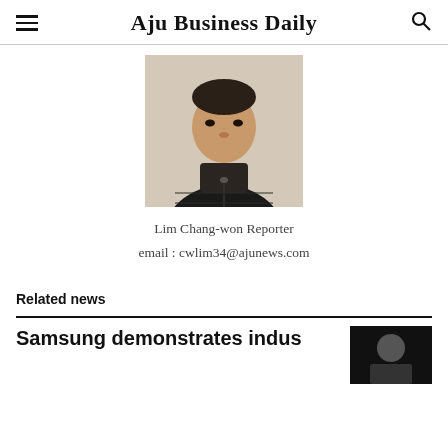Aju Business Daily
[Figure (photo): Portrait photo of reporter Lim Chang-won, an Asian man wearing a dark puffer vest over a dark turtleneck, photographed from the chest up against a light background.]
Lim Chang-won Reporter
email : cwlim34@ajunews.com
Related news
Samsung demonstrates indus